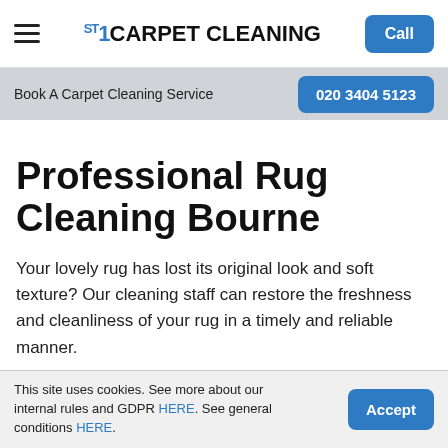1ST CARPET CLEANING | Call
Book A Carpet Cleaning Service | 020 3404 5123
Professional Rug Cleaning Bourne
Your lovely rug has lost its original look and soft texture? Our cleaning staff can restore the freshness and cleanliness of your rug in a timely and reliable manner.
Whether you need to handle a stubborn spot on your
This site uses cookies. See more about our internal rules and GDPR HERE. See general conditions HERE. | Accept